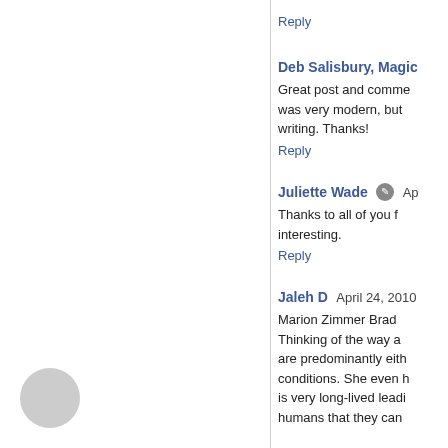Reply
Deb Salisbury, Magic
Great post and comme... was very modern, but ... writing. Thanks!
Reply
Juliette Wade  Ap
Thanks to all of you f... interesting.
Reply
Jaleh D  April 24, 2010
Marion Zimmer Brad... Thinking of the way a... are predominantly eith... conditions. She even h... is very long-lived leadi... humans that they can...